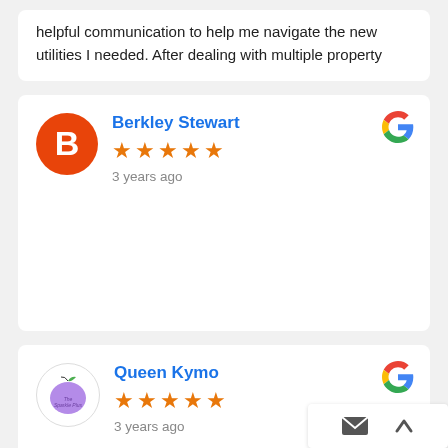helpful communication to help me navigate the new utilities I needed. After dealing with multiple property
Berkley Stewart
★★★★★
3 years ago
Queen Kymo
★★★★★
3 years ago
New Management w/ Seamless Transition! W... en got a new management company over the ... y ...